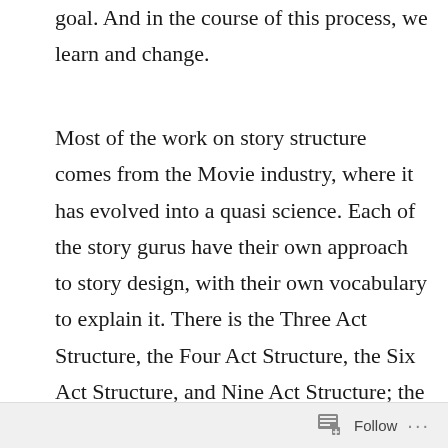goal. And in the course of this process, we learn and change.
Most of the work on story structure comes from the Movie industry, where it has evolved into a quasi science. Each of the story gurus have their own approach to story design, with their own vocabulary to explain it. There is the Three Act Structure, the Four Act Structure, the Six Act Structure, and Nine Act Structure; the Save the Cat Plot Beats; the Sequence Method; the Mini Movie, The Hero’s Journey; Harmon’s Plot Circle, and many more. But when you look into the detail, they all focus on deconstructing the story into a number of defined elements and place a slightly different emphasis
Follow